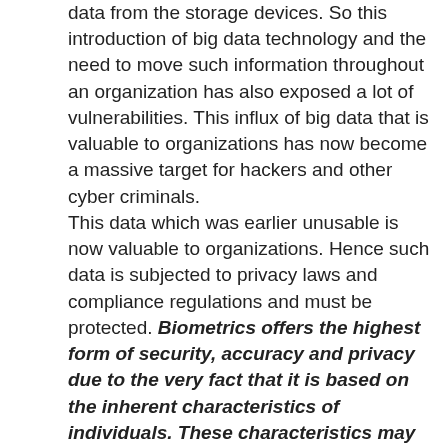data from the storage devices. So this introduction of big data technology and the need to move such information throughout an organization has also exposed a lot of vulnerabilities. This influx of big data that is valuable to organizations has now become a massive target for hackers and other cyber criminals.
This data which was earlier unusable is now valuable to organizations. Hence such data is subjected to privacy laws and compliance regulations and must be protected. Biometrics offers the highest form of security, accuracy and privacy due to the very fact that it is based on the inherent characteristics of individuals. These characteristics may include iris, fingerprints, voice etc. and acts as a strong deterrent to hacking attacks. Biometric traits are extremely difficult to replicate and is the most accurate method known to verify individual